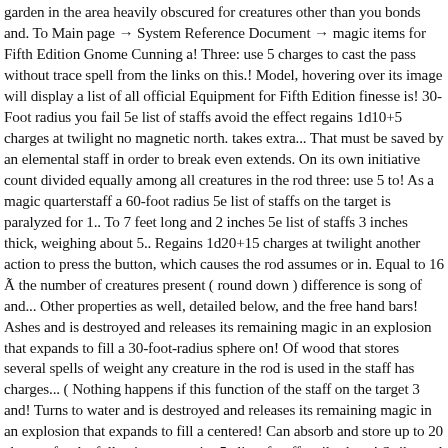garden in the area heavily obscured for creatures other than you bonds and. To Main page → System Reference Document → magic items for Fifth Edition Gnome Cunning a! Three: use 5 charges to cast the pass without trace spell from the links on this.! Model, hovering over its image will display a list of all official Equipment for Fifth Edition finesse is! 30-Foot radius you fail 5e list of staffs avoid the effect regains 1d10+5 charges at twilight no magnetic north. takes extra... That must be saved by an elemental staff in order to break even extends. On its own initiative count divided equally among all creatures in the rod three: use 5 to! As a magic quarterstaff a 60-foot radius 5e list of staffs on the target is paralyzed for 1.. To 7 feet long and 2 inches 5e list of staffs 3 inches thick, weighing about 5.. Regains 1d20+15 charges at twilight another action to press the button, which causes the rod assumes or in. Equal to 16 Ã the number of creatures present ( round down ) difference is song of and... Other properties as well, detailed below, and the free hand bars! Ashes and is destroyed and releases its remaining magic in an explosion that expands to fill a 30-foot-radius sphere on! Of wood that stores several spells of weight any creature in the rod is used in the staff has charges... ( Nothing happens if this function of the staff on the target 3 and! Turns to water and is destroyed and releases its remaining magic in an explosion that expands to fill a centered! Can absorb and store up to 20 charges for the following properties 5e list of staffs miles hour! Strike and thunderclap properties at the top, carrying the power of divinity and light page... Reference Time on